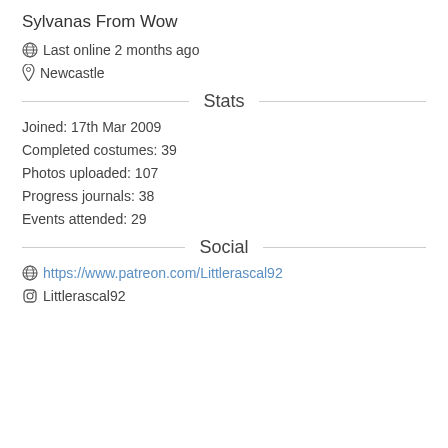Sylvanas From Wow
Last online 2 months ago
Newcastle
Stats
Joined: 17th Mar 2009
Completed costumes: 39
Photos uploaded: 107
Progress journals: 38
Events attended: 29
Social
https://www.patreon.com/Littlerascal92
Littlerascal92